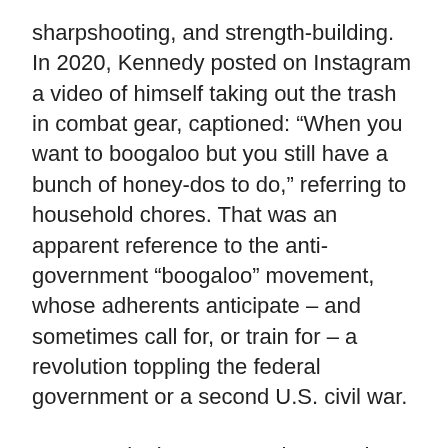sharpshooting, and strength-building. In 2020, Kennedy posted on Instagram a video of himself taking out the trash in combat gear, captioned: “When you want to boogaloo but you still have a bunch of honey-dos to do,” referring to household chores. That was an apparent reference to the anti-government “boogaloo” movement, whose adherents anticipate – and sometimes call for, or train for – a revolution toppling the federal government or a second U.S. civil war.
Two months later, Kennedy posted a photo of himself wearing a Hawaiian shirt and aiming a rifle. Hawaiian shirts are a trademark of the boogaloo movement. The picture was captioned: “If you choose to be a–hole… I picked out a special shirt for the occasion.” Kennedy said in an interview that he does not support the boogaloo movement. He said he loves Hawaiian shirts and owned